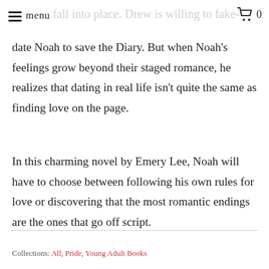menu  [faded: fall into place. Drew is willing to fake-]  [cart: 0]
date Noah to save the Diary. But when Noah's feelings grow beyond their staged romance, he realizes that dating in real life isn't quite the same as finding love on the page.
In this charming novel by Emery Lee, Noah will have to choose between following his own rules for love or discovering that the most romantic endings are the ones that go off script.
Collections: All, Pride, Young Adult Books